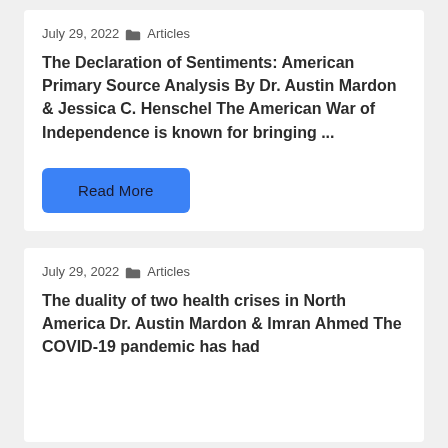July 29, 2022 📂 Articles
The Declaration of Sentiments: American Primary Source Analysis By Dr. Austin Mardon & Jessica C. Henschel The American War of Independence is known for bringing ...
Read More
July 29, 2022 📂 Articles
The duality of two health crises in North America Dr. Austin Mardon & Imran Ahmed The COVID-19 pandemic has had